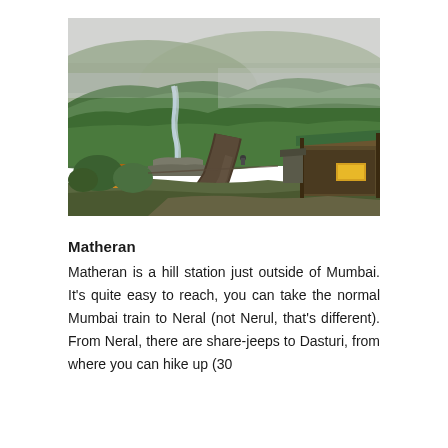[Figure (photo): Landscape photo of Matheran hill station showing a misty green hillside with a waterfall, a dirt road/path leading into the scene, roadside stalls and sheds on the right, and overcast grey sky.]
Matheran
Matheran is a hill station just outside of Mumbai. It's quite easy to reach, you can take the normal Mumbai train to Neral (not Nerul, that's different). From Neral, there are share-jeeps to Dasturi, from where you can hike up (30